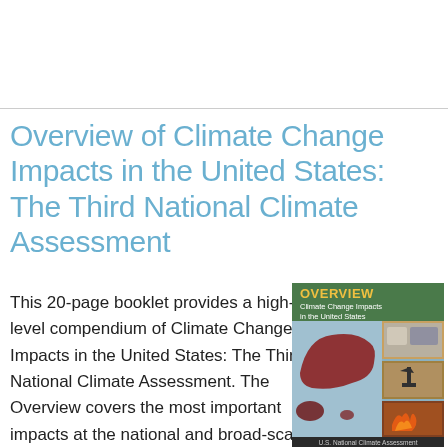Overview of Climate Change Impacts in the United States: The Third National Climate Assessment
This 20-page booklet provides a high-level compendium of Climate Change Impacts in the United States: The Third National Climate Assessment. The Overview covers the most important impacts at the national and broad-scale regional level.
[Figure (photo): Cover of the OVERVIEW Climate Change Impacts in the United States booklet, published by the U.S. National Climate Assessment. The cover shows a dark green header with 'OVERVIEW' in yellow and 'Climate Change Impacts in the United States' in white text, below which are photographic collage images including a red-shaded map of the United States, oil pump jacks, railroad infrastructure, and wildfire scenes.]